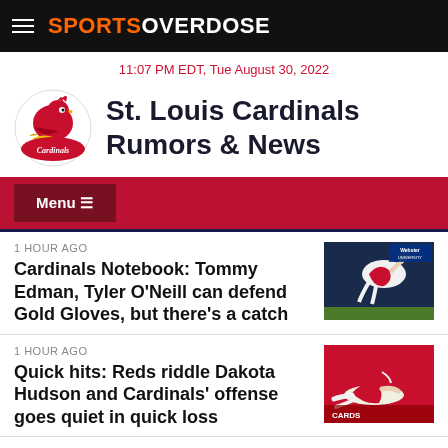SPORTS OVERDOSE
11:07 PM EDT, Tue August 30, 2022
St. Louis Cardinals Rumors & News
Menu ☰
1 HOUR AGO
Cardinals Notebook: Tommy Edman, Tyler O'Neill can defend Gold Gloves, but there's a catch
1 HOUR AGO
Quick hits: Reds riddle Dakota Hudson and Cardinals' offense goes quiet in quick loss